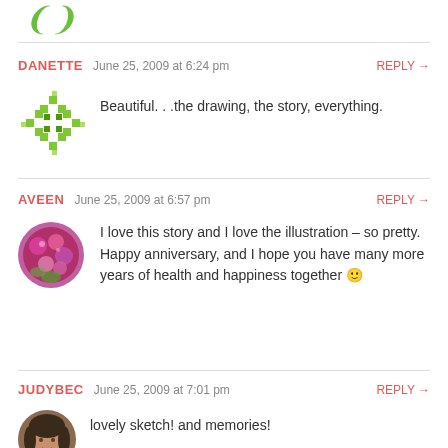[Figure (logo): Green decorative logo/icon at top left]
DANETTE   June 25, 2009 at 6:24 pm   REPLY →
[Figure (illustration): Green pixel/diamond pattern avatar for Danette]
Beautiful. . .the drawing, the story, everything.
AVEEN   June 25, 2009 at 6:57 pm   REPLY →
[Figure (photo): Circular avatar photo showing colorful flowers/bouquet for Aveen]
I love this story and I love the illustration – so pretty. Happy anniversary, and I hope you have many more years of health and happiness together 🙂
JUDYBEC   June 25, 2009 at 7:01 pm   REPLY →
[Figure (photo): Circular avatar photo of a woman for Judybec]
lovely sketch! and memories!